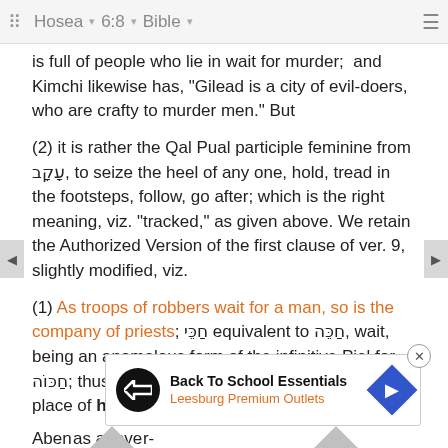Hosea 6:8 Bible
is full of people who lie in wait for murder; and Kimchi likewise has, "Gilead is a city of evil-doers, who are crafty to murder men." But
(2) it is rather the Qal Pual participle feminine from עָקָב, to seize the heel of any one, hold, tread in the footsteps, follow, go after; which is the right meaning, viz. "tracked," as given above. We retain the Authorized Version of the first clause of ver. 9, slightly modified, viz.
(1) As troops of robbers wait for a man, so is the company of priests; חַכֵּי equivalent to חַכֵּה, wait, being an anomalous form of the infinitive Piel for חַכּוֹה; thus Kimchi says, "The yod stands in the place of he, and the form is the infinitive." Bo Aben as above r-
[Figure (other): Advertisement banner: Back To School Essentials - Leesburg Premium Outlets]